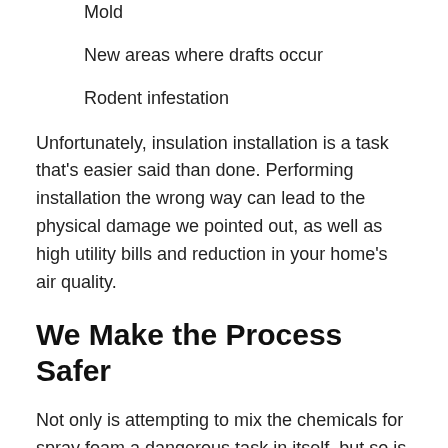Mold
New areas where drafts occur
Rodent infestation
Unfortunately, insulation installation is a task that's easier said than done. Performing installation the wrong way can lead to the physical damage we pointed out, as well as high utility bills and reduction in your home's air quality.
We Make the Process Safer
Not only is attempting to mix the chemicals for spray foam a dangerous task in itself, but so is removing the rest of a home's old insulation.
Insulation doesn't just give up and fail, it usually